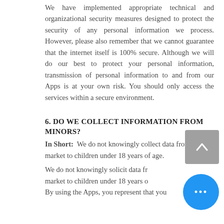We have implemented appropriate technical and organizational security measures designed to protect the security of any personal information we process. However, please also remember that we cannot guarantee that the internet itself is 100% secure. Although we will do our best to protect your personal information, transmission of personal information to and from our Apps is at your own risk. You should only access the services within a secure environment.
6. DO WE COLLECT INFORMATION FROM MINORS?
In Short:  We do not knowingly collect data from or market to children under 18 years of age.
We do not knowingly solicit data from or market to children under 18 years of age. By using the Apps, you represent that you